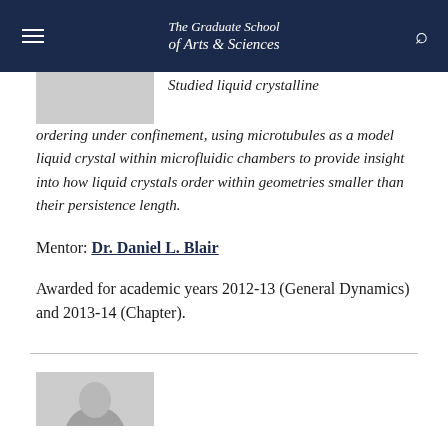The Graduate School of Arts & Sciences
Studied liquid crystalline ordering under confinement, using microtubules as a model liquid crystal within microfluidic chambers to provide insight into how liquid crystals order within geometries smaller than their persistence length.
Mentor: Dr. Daniel L. Blair
Awarded for academic years 2012-13 (General Dynamics) and 2013-14 (Chapter).
[Figure (photo): Partial photo of a person at the bottom of the page]